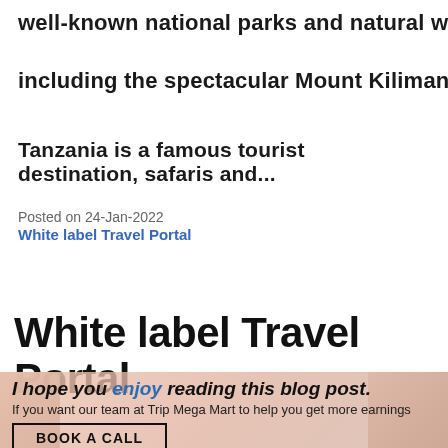well-known national parks and natural wonders,
including the spectacular Mount Kilimanjaro. Since
Tanzania is a famous tourist destination, safaris and...
Posted on 24-Jan-2022
White label Travel Portal
White label Travel Portal
I hope you enjoy reading this blog post.
If you want our team at Trip Mega Mart to help you get more earnings
BOOK A CALL